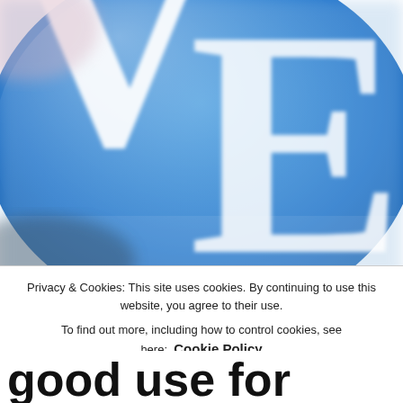[Figure (photo): Close-up photo of a blue fabric or object with large white letters 'VE' or partial letters visible on it, appearing to be a logo or embroidery.]
Privacy & Cookies: This site uses cookies. By continuing to use this website, you agree to their use.
To find out more, including how to control cookies, see here: Cookie Policy
Close and accept
good use for